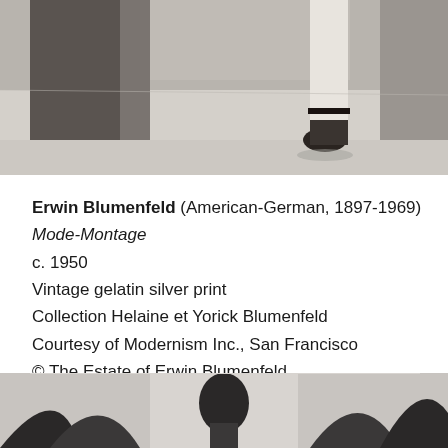[Figure (photo): Black and white photograph (top portion), showing a leg with a high-heeled shoe, likely part of a fashion montage photograph by Erwin Blumenfeld, c. 1950]
Erwin Blumenfeld (American-German, 1897-1969)
Mode-Montage
c. 1950
Vintage gelatin silver print
Collection Helaine et Yorick Blumenfeld
Courtesy of Modernism Inc., San Francisco
© The Estate of Erwin Blumenfeld
[Figure (photo): Black and white photograph (bottom portion), showing figures, part of the same or another Erwin Blumenfeld fashion photograph]